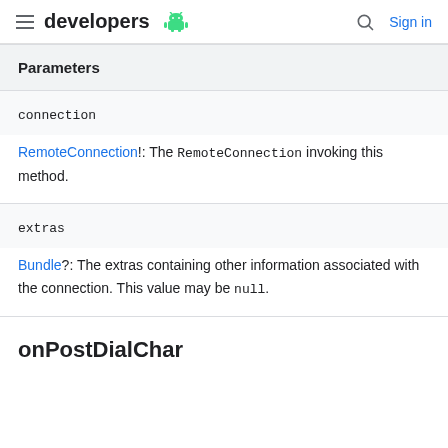developers [android logo] | [search icon] Sign in
| Parameters |
| --- |
| connection | RemoteConnection!: The RemoteConnection invoking this method. |
| extras | Bundle?: The extras containing other information associated with the connection. This value may be null. |
onPostDialChar